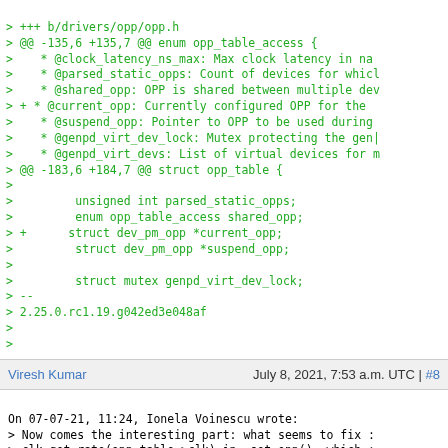> +++ b/drivers/opp/opp.h
> @@ -135,6 +135,7 @@ enum opp_table_access {
>    * @clock_latency_ns_max: Max clock latency in na
>    * @parsed_static_opps: Count of devices for whicl
>    * @shared_opp: OPP is shared between multiple de
> + * @current_opp: Currently configured OPP for the
>    * @suspend_opp: Pointer to OPP to be used during
>    * @genpd_virt_dev_lock: Mutex protecting the gen|
>    * @genpd_virt_devs: List of virtual devices for 
> @@ -183,6 +184,7 @@ struct opp_table {
>
>         unsigned int parsed_static_opps;
>         enum opp_table_access shared_opp;
> +      struct dev_pm_opp *current_opp;
>         struct dev_pm_opp *suspend_opp;
>
>         struct mutex genpd_virt_dev_lock;
> --
> 2.25.0.rc1.19.g042ed3e048af
>
>
Viresh Kumar   July 8, 2021, 7:53 a.m. UTC | #8
On 07-07-21, 11:24, Ionela Voinescu wrote:
> Now comes the interesting part: what seems to fix :
> clk_get_rate(opp_table->clk) in _set_opp(), which :
> happened before this patch, as _find_current_opp()
> I do not need to do anything with the returned fre(